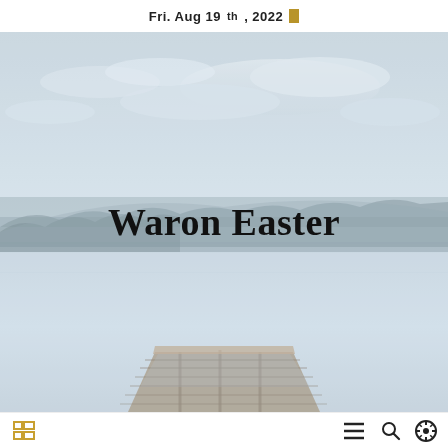Fri. Aug 19th, 2022
[Figure (photo): A serene lakeside scene with a wooden dock extending into calm, misty water, forested hills in the background, and a pale overcast sky with soft clouds. The image is desaturated with a cold bluish-grey tone.]
Waron Easter